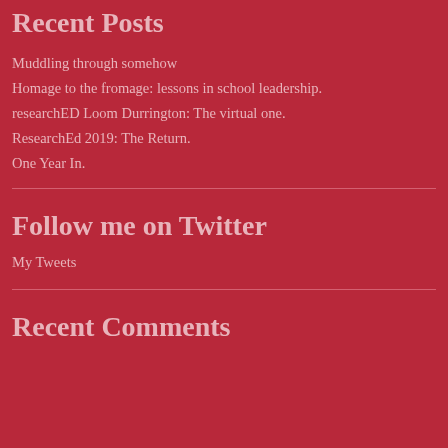Recent Posts
Muddling through somehow
Homage to the fromage: lessons in school leadership.
researchED Loom Durrington: The virtual one.
ResearchEd 2019: The Return.
One Year In.
Follow me on Twitter
My Tweets
Recent Comments